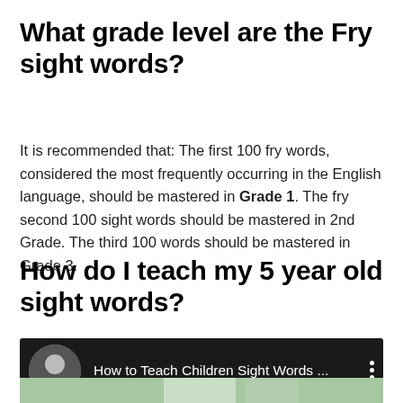What grade level are the Fry sight words?
It is recommended that: The first 100 fry words, considered the most frequently occurring in the English language, should be mastered in Grade 1. The fry second 100 sight words should be mastered in 2nd Grade. The third 100 words should be mastered in Grade 3.
How do I teach my 5 year old sight words?
[Figure (screenshot): Video thumbnail with black bar showing a woman's avatar photo and the text 'How to Teach Children Sight Words ...' with a vertical three-dot menu icon, followed by a partial image of a classroom scene below.]